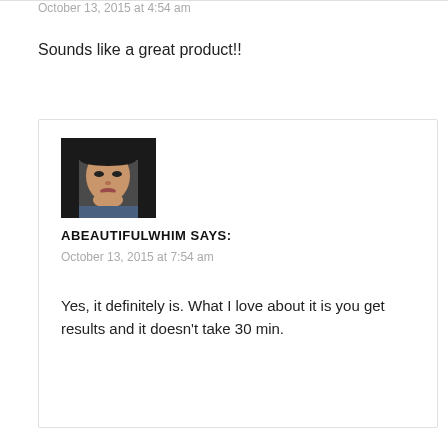October 13, 2015 at 4:54 am
Sounds like a great product!!
[Figure (photo): Profile photo of a woman with long dark hair and bangs]
ABEAUTIFULWHIM SAYS:
October 13, 2015 at 7:54 am
Yes, it definitely is. What I love about it is you get results and it doesn't take 30 min.